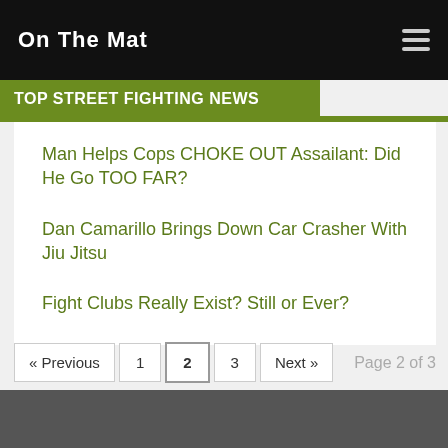On The Mat
TOP STREET FIGHTING NEWS
Man Helps Cops CHOKE OUT Assailant: Did He Go TOO FAR?
Dan Camarillo Brings Down Car Crasher With Jiu Jitsu
Fight Clubs Really Exist? Still or Ever?
« Previous  1  2  3  Next »  Page 2 of 3